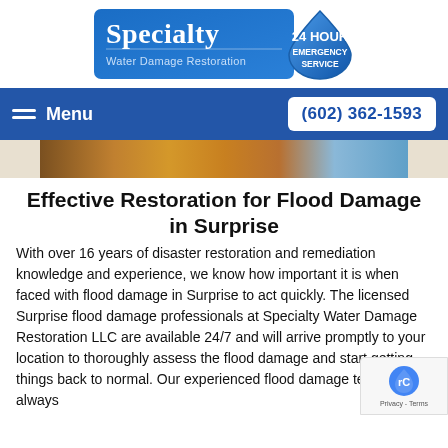[Figure (logo): Specialty Water Damage Restoration logo with blue gradient background, white serif text reading 'Specialty', 'Water Damage Restoration', and a water drop shape with '24 HOUR EMERGENCY SERVICE' badge]
Menu  (602) 362-1593
[Figure (photo): Partial photo of a flooded wooden floor with water damage, partially visible at top of content area]
Effective Restoration for Flood Damage in Surprise
With over 16 years of disaster restoration and remediation knowledge and experience, we know how important it is when faced with flood damage in Surprise to act quickly. The licensed Surprise flood damage professionals at Specialty Water Damage Restoration LLC are available 24/7 and will arrive promptly to your location to thoroughly assess the flood damage and start getting things back to normal. Our experienced flood damage technicians always